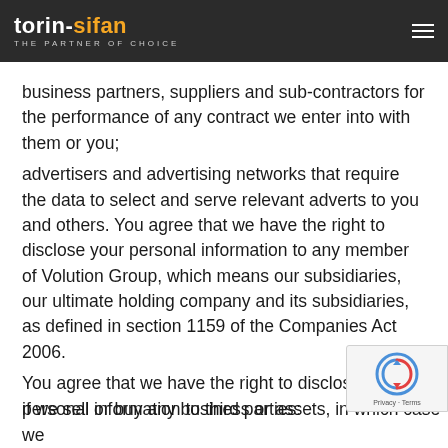torin-sifan The Partner of Choice
business partners, suppliers and sub-contractors for the performance of any contract we enter into with them or you;
advertisers and advertising networks that require the data to select and serve relevant adverts to you and others. You agree that we have the right to disclose your personal information to any member of Volution Group, which means our subsidiaries, our ultimate holding company and its subsidiaries, as defined in section 1159 of the Companies Act 2006.
You agree that we have the right to disclose your personal information to third parties:
if we sell or buy any business or assets, in which case we